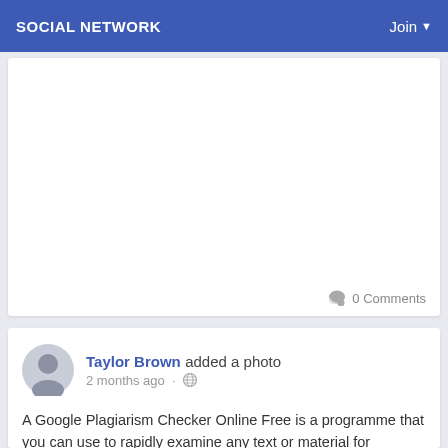SOCIAL NETWORK   Join
[Figure (other): White content card area with 0 Comments indicator at bottom right]
0 Comments
Taylor Brown added a photo
2 months ago
A Google Plagiarism Checker Online Free is a programme that you can use to rapidly examine any text or material for plagiarism. It is free and simple to use. This website offers a wide selection of private tutoring, tutoring, and exam preparation services in addition to allowing you to